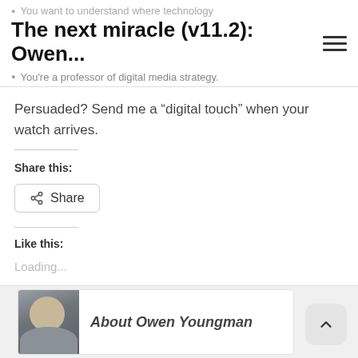You want to understand where technology
The next miracle (v11.2): Owen...
You're a professor of digital media strategy.
Persuaded? Send me a “digital touch” when your watch arrives.
Share this:
Share
Like this:
Loading...
About Owen Youngman